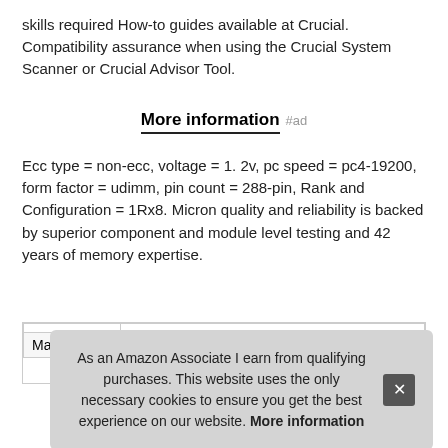skills required How-to guides available at Crucial. Compatibility assurance when using the Crucial System Scanner or Crucial Advisor Tool.
More information #ad
Ecc type = non-ecc, voltage = 1. 2v, pc speed = pc4-19200, form factor = udimm, pin count = 288-pin, Rank and Configuration = 1Rx8. Micron quality and reliability is backed by superior component and module level testing and 42 years of memory expertise.
|  |  |
| --- | --- |
| Ma |  |
As an Amazon Associate I earn from qualifying purchases. This website uses the only necessary cookies to ensure you get the best experience on our website. More information